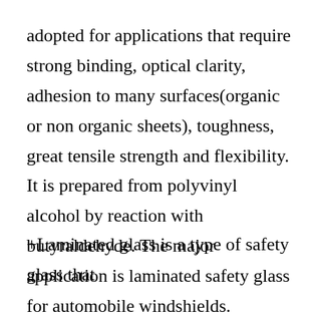adopted for applications that require strong binding, optical clarity, adhesion to many surfaces(organic or non organic sheets), toughness, great tensile strength and flexibility. It is prepared from polyvinyl alcohol by reaction with butyraldehyde. The major application is laminated safety glass for automobile windshields. Tradenames for PVB-films include GlasNovations, Butacite, Saflex, S-Lec, CNCnext and Trosifol.
+Laminated glass is a type of safety glass that